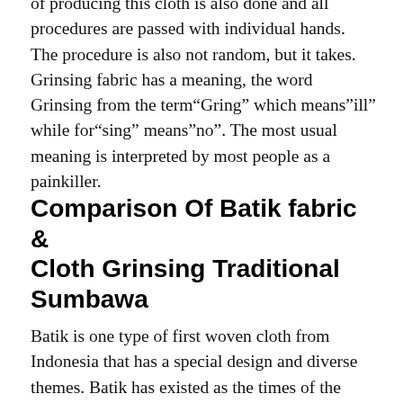of producing this cloth is also done and all procedures are passed with individual hands. The procedure is also not random, but it takes. Grinsing fabric has a meaning, the word Grinsing from the term“Gring” which means”ill” while for“sing” means”no”. The most usual meaning is interpreted by most people as a painkiller.
Comparison Of Batik fabric & Cloth Grinsing Traditional Sumbawa
Batik is one type of first woven cloth from Indonesia that has a special design and diverse themes. Batik has existed as the times of the